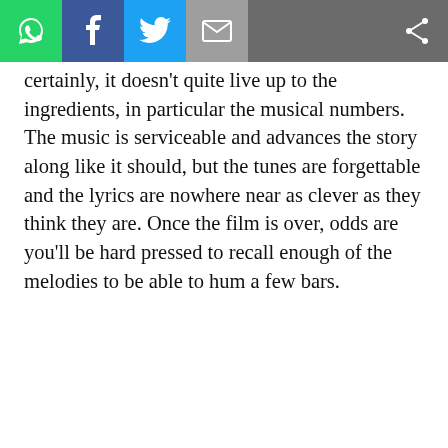[social share toolbar: WhatsApp, Facebook, Twitter, Email, Share]
…certainly, it doesn't quite live up to the ingredients, in particular the musical numbers. The music is serviceable and advances the story along like it should, but the tunes are forgettable and the lyrics are nowhere near as clever as they think they are. Once the film is over, odds are you'll be hard pressed to recall enough of the melodies to be able to hum a few bars.